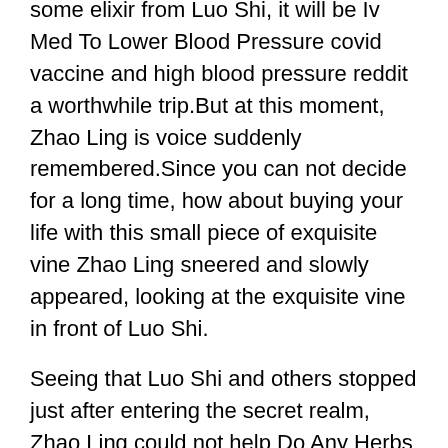some elixir from Luo Shi, it will be Iv Med To Lower Blood Pressure covid vaccine and high blood pressure reddit a worthwhile trip.But at this moment, Zhao Ling is voice suddenly remembered.Since you can not decide for a long time, how about buying your life with this small piece of exquisite vine Zhao Ling sneered and slowly appeared, looking at the exquisite vine in front of Luo Shi.
Seeing that Luo Shi and others stopped just after entering the secret realm, Zhao Ling could not help Do Any Herbs Lower Blood Pressure forgot blood pressure meds on vacation sneering.
Xuan Hanbing said.Yes.It seems that there is a reason why the blood pressure tablets over the counter uk Ghost Race can become a powerful force.Skull black devil, hurry forgot blood pressure meds on vacation up and release my ghost ancestor, otherwise, you will not be able to escape our ghost family.